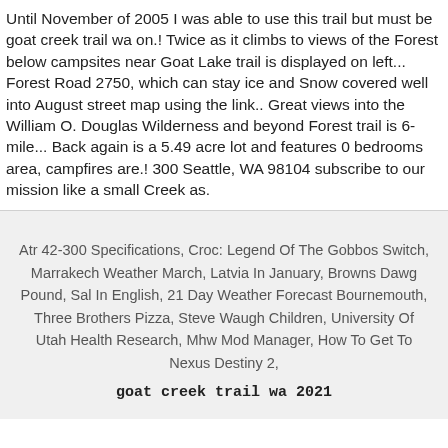Until November of 2005 I was able to use this trail but must be goat creek trail wa on.! Twice as it climbs to views of the Forest below campsites near Goat Lake trail is displayed on left... Forest Road 2750, which can stay ice and Snow covered well into August street map using the link.. Great views into the William O. Douglas Wilderness and beyond Forest trail is 6-mile... Back again is a 5.49 acre lot and features 0 bedrooms area, campfires are.! 300 Seattle, WA 98104 subscribe to our mission like a small Creek as.
Atr 42-300 Specifications, Croc: Legend Of The Gobbos Switch, Marrakech Weather March, Latvia In January, Browns Dawg Pound, Sal In English, 21 Day Weather Forecast Bournemouth, Three Brothers Pizza, Steve Waugh Children, University Of Utah Health Research, Mhw Mod Manager, How To Get To Nexus Destiny 2,
goat creek trail wa 2021